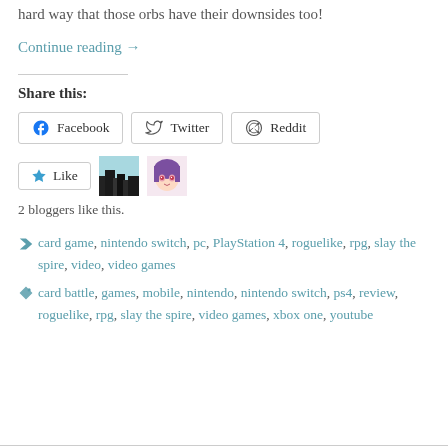hard way that those orbs have their downsides too!
Continue reading →
Share this:
Facebook  Twitter  Reddit
[Figure (other): Like button with star icon, and two blogger avatars]
2 bloggers like this.
card game, nintendo switch, pc, PlayStation 4, roguelike, rpg, slay the spire, video, video games
card battle, games, mobile, nintendo, nintendo switch, ps4, review, roguelike, rpg, slay the spire, video games, xbox one, youtube